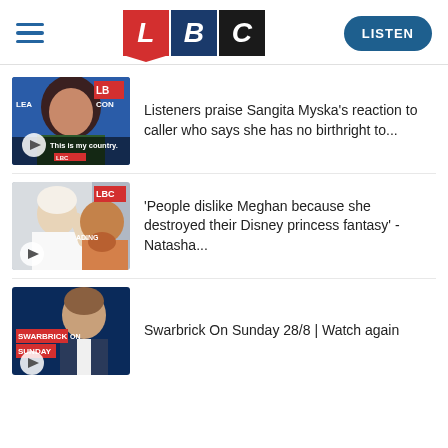[Figure (logo): LBC radio website header with hamburger menu, LBC logo (red L, dark blue B, black C boxes), and teal LISTEN button]
[Figure (screenshot): Thumbnail of Sangita Myska with text overlay 'This is my country.' and LBC branding, with play button overlay]
Listeners praise Sangita Myska's reaction to caller who says she has no birthright to...
[Figure (screenshot): Thumbnail of Meghan Markle in wedding dress waving, with LBC branding, and play button overlay]
'People dislike Meghan because she destroyed their Disney princess fantasy' - Natasha...
[Figure (screenshot): Thumbnail of Swarbrick On Sunday show with male presenter in suit, dark blue background, red SWARBRICK ON SUNDAY text, and play button overlay]
Swarbrick On Sunday 28/8 | Watch again